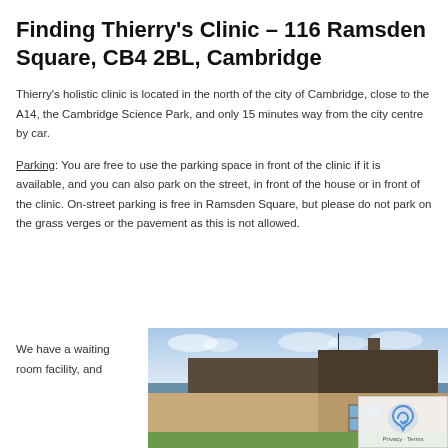Finding Thierry's Clinic – 116 Ramsden Square, CB4 2BL, Cambridge
Thierry's holistic clinic is located in the north of the city of Cambridge, close to the A14, the Cambridge Science Park, and only 15 minutes way from the city centre by car.
Parking: You are free to use the parking space in front of the clinic if it is available, and you can also park on the street, in front of the house or in front of the clinic. On-street parking is free in Ramsden Square, but please do not park on the grass verges or the pavement as this is not allowed.
We have a waiting room facility, and
[Figure (photo): Exterior photo of a residential house in Cambridge showing roof, chimney, and brick walls under a partly cloudy sky]